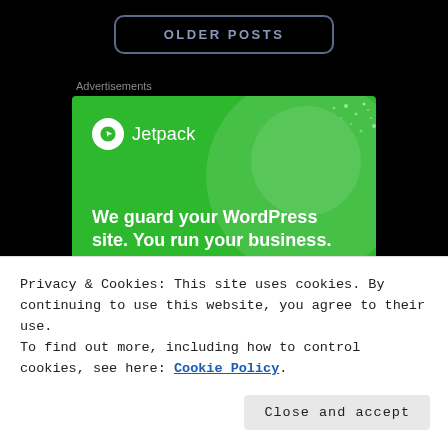OLDER POSTS
Advertisements
[Figure (illustration): Jetpack advertisement banner on green background. Shows Jetpack logo (white circle with lightning bolt) and text: 'We guard your WordPress site. You run your business.' with a 'Secure Your Site' button.]
Privacy & Cookies: This site uses cookies. By continuing to use this website, you agree to their use.
To find out more, including how to control cookies, see here: Cookie Policy
Close and accept